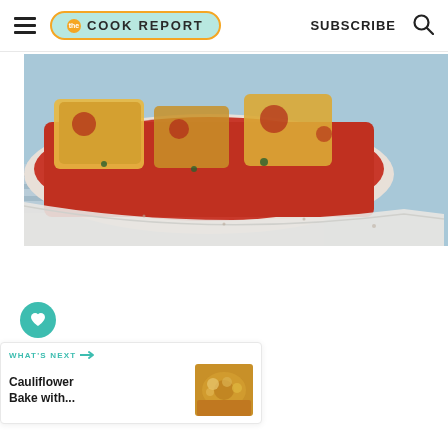THE COOK REPORT | SUBSCRIBE
[Figure (photo): Overhead view of a casserole dish with tomato sauce and bread pieces on a blue background with a striped cloth]
[Figure (infographic): Heart (favorite) button - teal circle with white heart icon]
[Figure (infographic): Share button - white circle with share icon]
WHAT'S NEXT → Cauliflower Bake with...